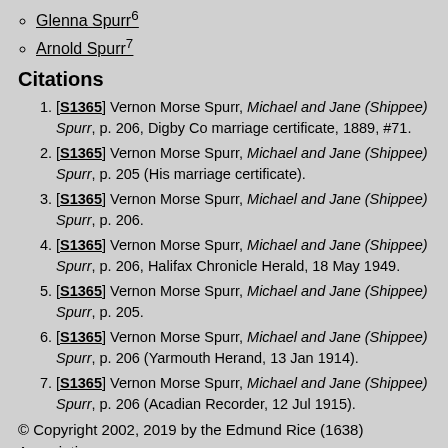Glenna Spurr⁶
Arnold Spurr⁷
Citations
[S1365] Vernon Morse Spurr, Michael and Jane (Shippee) Spurr, p. 206, Digby Co marriage certificate, 1889, #71.
[S1365] Vernon Morse Spurr, Michael and Jane (Shippee) Spurr, p. 205 (His marriage certificate).
[S1365] Vernon Morse Spurr, Michael and Jane (Shippee) Spurr, p. 206.
[S1365] Vernon Morse Spurr, Michael and Jane (Shippee) Spurr, p. 206, Halifax Chronicle Herald, 18 May 1949.
[S1365] Vernon Morse Spurr, Michael and Jane (Shippee) Spurr, p. 205.
[S1365] Vernon Morse Spurr, Michael and Jane (Shippee) Spurr, p. 206 (Yarmouth Herand, 13 Jan 1914).
[S1365] Vernon Morse Spurr, Michael and Jane (Shippee) Spurr, p. 206 (Acadian Recorder, 12 Jul 1915).
© Copyright 2002, 2019 by the Edmund Rice (1638) Association
James Wilkie Spurr¹
This report includes only the first five generations of the Nova Scotia Planter descendants. To learn more about the early descendants of Edmund Rice visit the Edmund Rice (1638) Association.